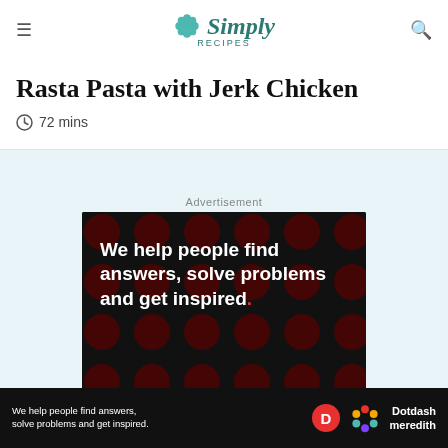Simply Recipes
Rasta Pasta with Jerk Chicken
72 mins
Advertisement
[Figure (illustration): Advertisement banner: dark background with red polka dots, white bold text reading 'We help people find answers, solve problems and get inspired.' with a red period. LEARN MORE button with arrow. Dotdash and meredith logos at bottom right.]
[Figure (illustration): Sticky bottom ad bar: dark background, white text 'We help people find answers, solve problems and get inspired.' with D logo and Dotdash meredith branding.]